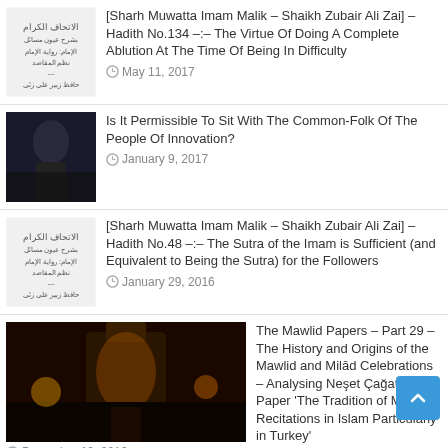[Figure (illustration): Arabic calligraphy/logo image for entry 1]
[Sharh Muwatta Imam Malik – Shaikh Zubair Ali Zai] – Hadith No.134 –:– The Virtue Of Doing A Complete Ablution At The Time Of Being In Difficulty
May 11, 2017
[Figure (photo): Photo of a speaker at a podium with audience in background]
Is It Permissible To Sit With The Common-Folk Of The People Of Innovation?
January 9, 2017
[Figure (illustration): Arabic calligraphy/logo image for entry 3]
[Sharh Muwatta Imam Malik – Shaikh Zubair Ali Zai] – Hadith No.48 –:– The Sutra of the Imam is Sufficient (and Equivalent to Being the Sutra) for the Followers
January 29, 2016
[Figure (photo): Photo of an illuminated mosque or shrine at night]
The Mawlid Papers – Part 29 – The History and Origins of the Mawlid and Milād Celebrations – Analysing Neşet Çağatay's Paper 'The Tradition of Mavlid Recitations in Islam Particularly in Turkey'
December 10, 2016
[Figure (photo): Photo of colorful flowers or decorative items]
Answering Gibril Fouad Haddad, His book 'Al-Albani and his Friends' And The Barelvi Sufis – Part 6 – The Mulla Sahib Baghdadi Affair.
August 9, 2015